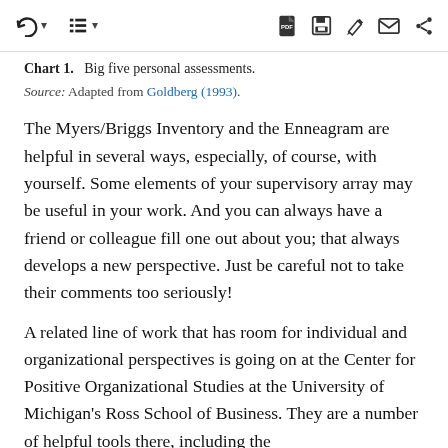Toolbar navigation icons
Chart 1.   Big five personal assessments.
Source: Adapted from Goldberg (1993).
The Myers/Briggs Inventory and the Enneagram are helpful in several ways, especially, of course, with yourself. Some elements of your supervisory array may be useful in your work. And you can always have a friend or colleague fill one out about you; that always develops a new perspective. Just be careful not to take their comments too seriously!
A related line of work that has room for individual and organizational perspectives is going on at the Center for Positive Organizational Studies at the University of Michigan's Ross School of Business. They are a number of helpful tools there, including the